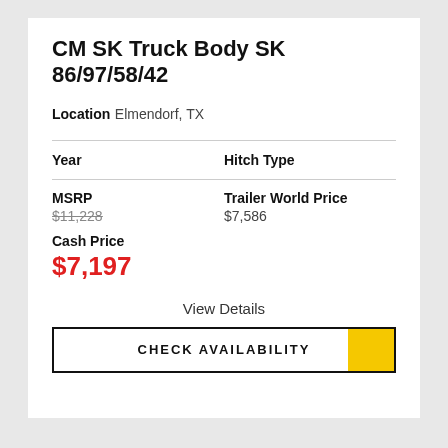CM SK Truck Body SK 86/97/58/42
Location
Elmendorf, TX
Year
Hitch Type
MSRP
$11,228
Trailer World Price
$7,586
Cash Price
$7,197
View Details
CHECK AVAILABILITY